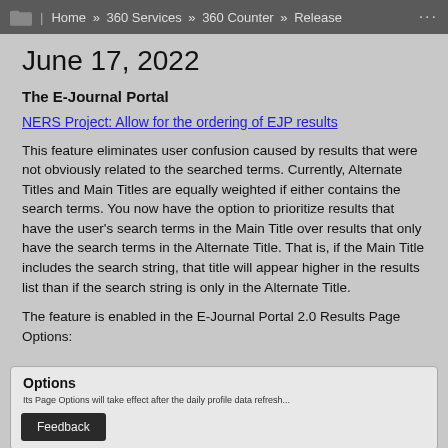Home » 360 Services » 360 Counter » Release ...
June 17, 2022
The E-Journal Portal
NERS Project: Allow for the ordering of EJP results
This feature eliminates user confusion caused by results that were not obviously related to the searched terms. Currently, Alternate Titles and Main Titles are equally weighted if either contains the search terms. You now have the option to prioritize results that have the user's search terms in the Main Title over results that only have the search terms in the Alternate Title. That is, if the Main Title includes the search string, that title will appear higher in the results list than if the search string is only in the Alternate Title.
The feature is enabled in the E-Journal Portal 2.0 Results Page Options:
[Figure (screenshot): Screenshot showing a Results Page Options dialog with a Feedback button overlay at bottom left.]